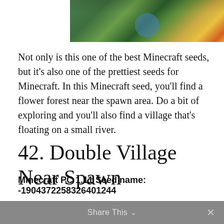[Figure (screenshot): Partial Minecraft game screenshot showing a top-down or angled view of a Minecraft world with green terrain, trees, and orange/yellow elements, cropped at top of page]
Not only is this one of the best Minecraft seeds, but it's also one of the prettiest seeds for Minecraft. In this Minecraft seed, you'll find a flower forest near the spawn area. Do a bit of exploring and you'll also find a village that's floating on a small river.
42. Double Village Near Spawn
Minecraft PC 1.11 Seed name: -1904372258326401244
Share This ∨  ✕